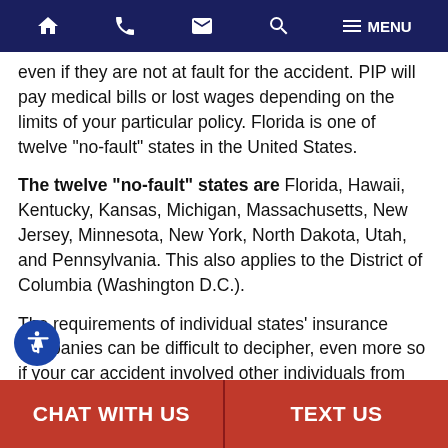Navigation bar with home, phone, email, search, and menu icons
even if they are not at fault for the accident. PIP will pay medical bills or lost wages depending on the limits of your particular policy. Florida is one of twelve "no-fault" states in the United States.
The twelve "no-fault" states are Florida, Hawaii, Kentucky, Kansas, Michigan, Massachusetts, New Jersey, Minnesota, New York, North Dakota, Utah, and Pennsylvania. This also applies to the District of Columbia (Washington D.C.).
The requirements of individual states' insurance companies can be difficult to decipher, even more so if your car accident involved other individuals from other states. Your best course of action is to consult a
CHAT WITH US | TEXT US